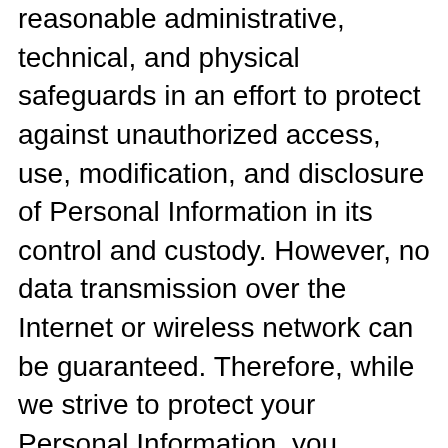reasonable administrative, technical, and physical safeguards in an effort to protect against unauthorized access, use, modification, and disclosure of Personal Information in its control and custody. However, no data transmission over the Internet or wireless network can be guaranteed. Therefore, while we strive to protect your Personal Information, you acknowledge that (i) there are security and privacy limitations of the Internet which are beyond our control; (ii) the security, integrity, and privacy of any and all information and data exchanged between you and the Website and Services cannot be guaranteed; and (iii) any such information and data may be viewed or tampered with in transit by a third party;